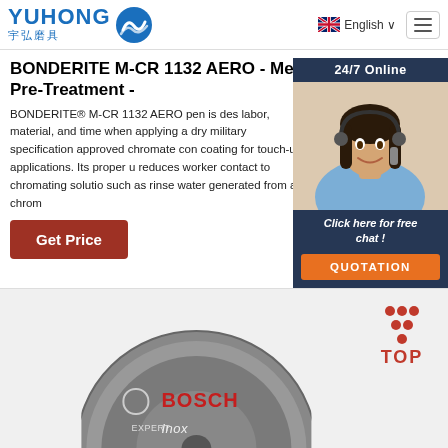YUHONG 宇弘磨具 | English | Navigation
BONDERITE M-CR 1132 AERO - Metal Pre-Treatment -
BONDERITE® M-CR 1132 AERO pen is des labor, material, and time when applying a dry military specification approved chromate con coating for touch-up applications. Its proper u reduces worker contact to chromating solutio such as rinse water generated from a chrom
[Figure (screenshot): 24/7 Online chat widget with customer service representative photo, 'Click here for free chat!' text and QUOTATION button]
[Figure (photo): Bosch Expert Inox cutting disc, circular grey disc with red BOSCH branding and Expert Inox text]
[Figure (logo): TOP button with red dots in triangle pattern and TOP text in red]